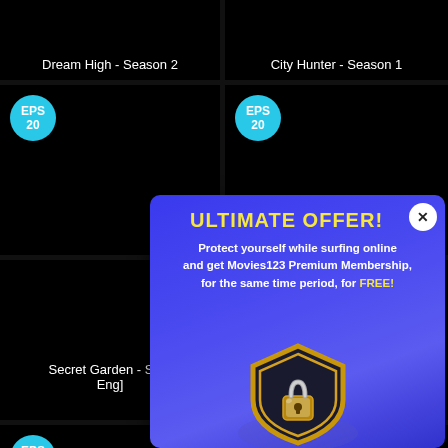Dream High - Season 2
City Hunter - Season 1
[Figure (screenshot): Black thumbnail card with EPS 20 badge, top-left]
[Figure (screenshot): Black thumbnail card with EPS 20 badge, top-right]
Secret Garden - Se... Eng]
[Figure (screenshot): Black thumbnail card with EPS 16 badge, bottom-left]
[Figure (infographic): Popup ad: ULTIMATE OFFER! Protect yourself while surfing online and get Movies123 Premium Membership, for the same time period, for FREE! Shield with lock icon.]